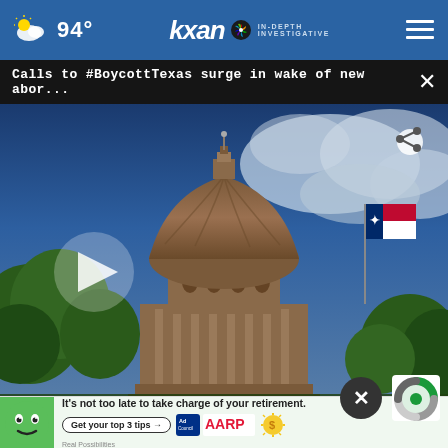94° | KXAN IN-DEPTH INVESTIGATIVE
Calls to #BoycottTexas surge in wake of new abor...
[Figure (screenshot): Video thumbnail showing the Texas State Capitol building dome against a dramatic cloudy sky with a Texas flag flying, green trees in foreground. A white play button triangle is visible on the left side and a share icon in the upper right.]
AROUND THE WEB
It's not too late to take charge of your retirement. Get your top 3 tips →  Ad Council  AARP Real Possibilities